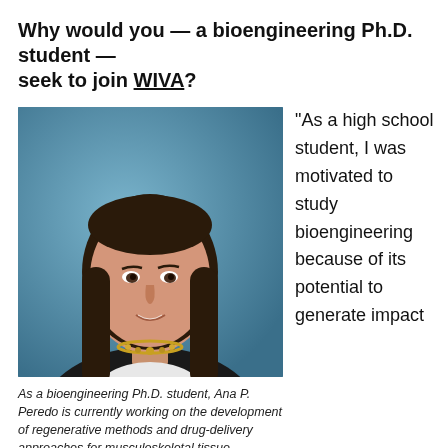Why would you — a bioengineering Ph.D. student — seek to join WIVA?
[Figure (photo): Professional headshot of Ana P. Peredo, a young woman with long dark hair wearing a black blazer and statement necklace, photographed against a blue background.]
As a bioengineering Ph.D. student, Ana P. Peredo is currently working on the development of regenerative methods and drug-delivery approaches for musculoskeletal tissue
“As a high school student, I was motivated to study bioengineering because of its potential to generate impact